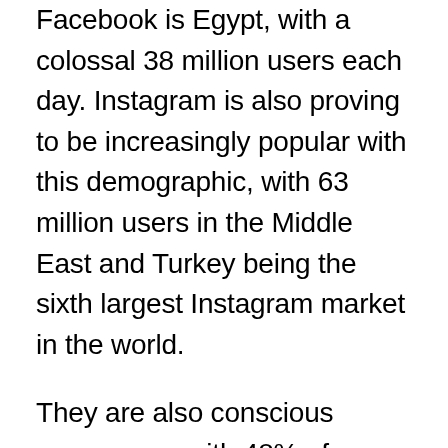Facebook is Egypt, with a colossal 38 million users each day. Instagram is also proving to be increasingly popular with this demographic, with 63 million users in the Middle East and Turkey being the sixth largest Instagram market in the world.
They are also conscious consumers, with 48% of millennials in this region stating that they only buy from socially responsible brands and 45% revealing that they support local emerging brands as long as they share their ideals.